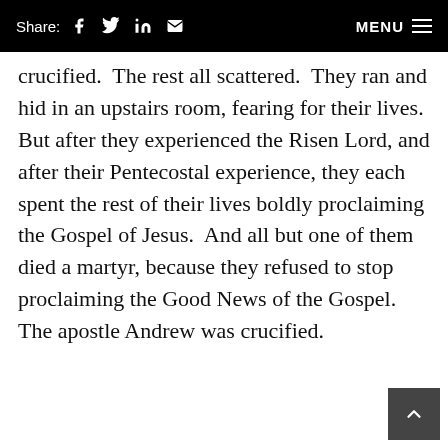Share: f [twitter] in [mail] MENU ≡
crucified.  The rest all scattered.  They ran and hid in an upstairs room, fearing for their lives.  But after they experienced the Risen Lord, and after their Pentecostal experience, they each spent the rest of their lives boldly proclaiming the Gospel of Jesus.  And all but one of them died a martyr, because they refused to stop proclaiming the Good News of the Gospel.

The apostle Andrew was crucified.